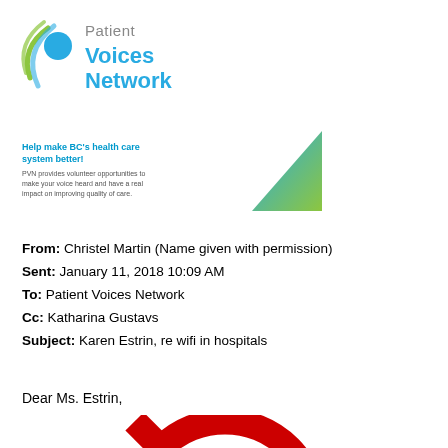[Figure (logo): Patient Voices Network logo with blue/green circular icon and teal text]
[Figure (infographic): Banner with blue text 'Help make BC's health care system better!' and teal triangle graphic]
From: Christel Martin (Name given with permission)
Sent: January 11, 2018 10:09 AM
To: Patient Voices Network
Cc: Katharina Gustavs
Subject: Karen Estrin, re wifi in hospitals
Dear Ms. Estrin,
[Figure (illustration): Partially visible red circle/prohibition symbol at bottom of page]